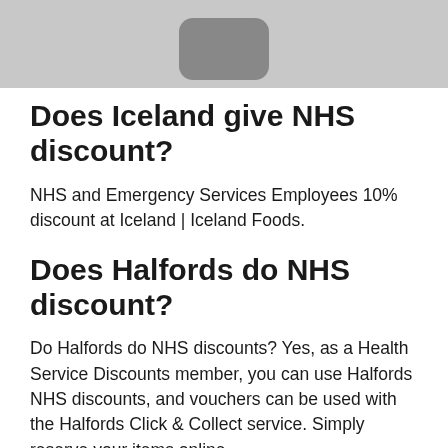[Figure (illustration): Partial image showing a rounded rectangle shape on a light gray background]
Does Iceland give NHS discount?
NHS and Emergency Services Employees 10% discount at Iceland | Iceland Foods.
Does Halfords do NHS discount?
Do Halfords do NHS discounts? Yes, as a Health Service Discounts member, you can use Halfords NHS discounts, and vouchers can be used with the Halfords Click & Collect service. Simply reserve your items online